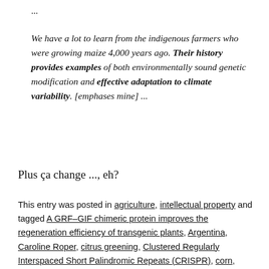...
We have a lot to learn from the indigenous farmers who were growing maize 4,000 years ago. Their history provides examples of both environmentally sound genetic modification and effective adaptation to climate variability. [emphases mine] ...
Plus ça change ..., eh?
This entry was posted in agriculture, intellectual property and tagged A GRF–GIF chimeric protein improves the regeneration efficiency of transgenic plants, Argentina, Caroline Roper, citrus greening, Clustered Regularly Interspaced Short Palindromic Repeats (CRISPR), corn, CRISPR-Cas9 gene editing technology, David M. Tricoli, David Tricoli, Gabriela Serrato Marks, gene editing, genetic engineering, growth-promoting genes, Honduras, Howard Hughes Medical Institute (HHMI), indigenous farmers,